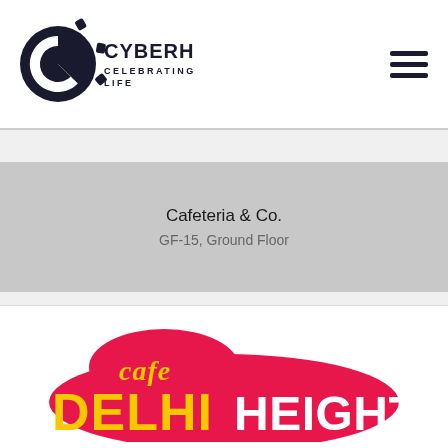[Figure (logo): Cyberhub Celebrating Life logo - circular C icon in dark navy with Cyberhub text]
Cafeteria & Co.
GF-15, Ground Floor
[Figure (logo): Cafe Delhi Heights logo - pink blob shape with yellow DELHI and white HEIGHTS text]